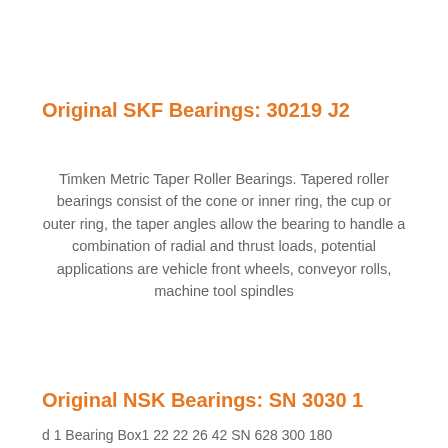Original SKF Bearings: 30219 J2
Timken Metric Taper Roller Bearings. Tapered roller bearings consist of the cone or inner ring, the cup or outer ring, the taper angles allow the bearing to handle a combination of radial and thrust loads, potential applications are vehicle front wheels, conveyor rolls, machine tool spindles
Original NSK Bearings: SN 3030 1
d 1 Bearing Box1 22 22 26 42 SN 628 300 180